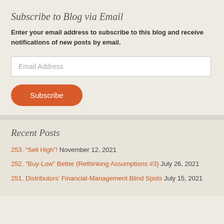Subscribe to Blog via Email
Enter your email address to subscribe to this blog and receive notifications of new posts by email.
Recent Posts
253. “Sell High”! November 12, 2021
252. “Buy-Low” Better (Rethinking Assumptions #3) July 26, 2021
251. Distributors’ Financial-Management Blind Spots July 15, 2021